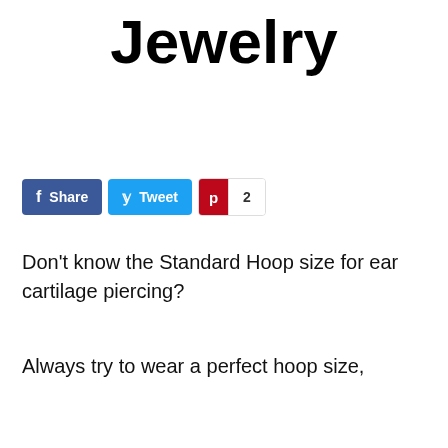Jewelry
[Figure (infographic): Social sharing buttons: Facebook Share, Twitter Tweet, Pinterest with count 2]
Don't know the Standard Hoop size for ear cartilage piercing?
Always try to wear a perfect hoop size,